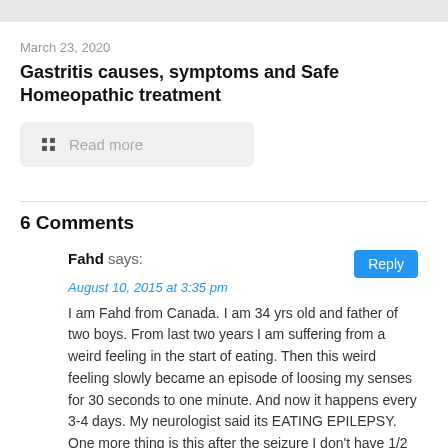March 23, 2020
Gastritis causes, symptoms and Safe Homeopathic treatment
Read more
6 Comments
Fahd says:
August 10, 2015 at 3:35 pm
I am Fahd from Canada. I am 34 yrs old and father of two boys. From last two years I am suffering from a weird feeling in the start of eating. Then this weird feeling slowly became an episode of loosing my senses for 30 seconds to one minute. And now it happens every 3-4 days. My neurologist said its EATING EPILEPSY. One more thing is this after the seizure I don't have 1/2 hour memory. Like I finish my food after seizure and go to sleep but I don't